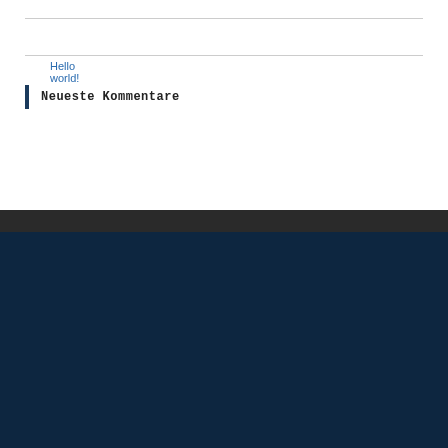Hello world!
Neueste Kommentare
Diese Internetseite verwendet Cookies für die Analyse und Statistik, sowie für interessenbasierte Werbung. Wir nutzen Cookies zu unterschiedlichen Zwecken, unter anderem zur Analyse und für personalisierte Werbung. Diese Verarbeitung erfolgt auf Grundlage Ihrer Einwilligung. Weitere Informationen hierzu finden Sie in unserer Datenschutzerklärung.
Cookie settings   Akzeptieren